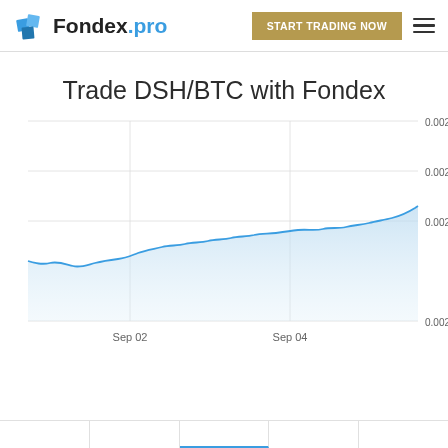Fondex.pro | START TRADING NOW
Trade DSH/BTC with Fondex
[Figure (area-chart): Area chart showing DSH/BTC price rising from approximately 0.0022 on Sep 02 to approximately 0.0024 on Sep 04, with y-axis labels 0.0020, 0.0022, 0.0024, 0.0026]